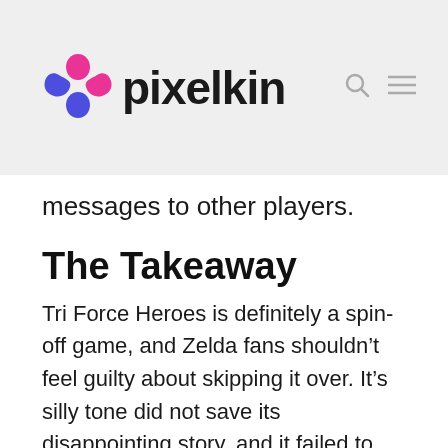pixelkin
messages to other players.
The Takeaway
Tri Force Heroes is definitely a spin-off game, and Zelda fans shouldn’t feel guilty about skipping it over. It’s silly tone did not save its disappointing story, and it failed to deliver the nonstop satisfying experience that I’ve come to expect from Zelda games. However, when Tri Force Heroes is good, it’s really good. I adored playing cooperatively and